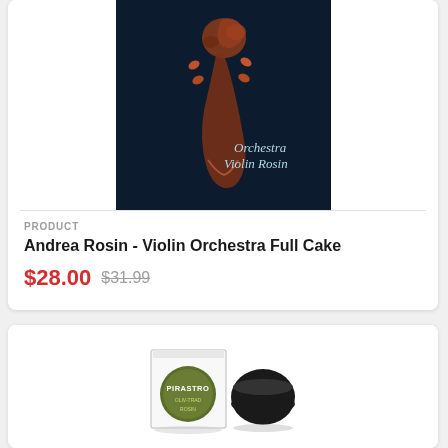[Figure (photo): Product image of Andrea Orchestra Violin Rosin box — dark navy/black background with reddish-brown violin scroll illustration and white text reading 'Orchestra Violin Rosin']
PRODUCT
Andrea Rosin - Violin Orchestra Full Cake
$28.00  $31.99
[Figure (photo): Product image of Pirastro rosin — a small white box with olive-green circular lid labeled 'PIRASTRO' and a small black circular rosin puck beside it, on white background]